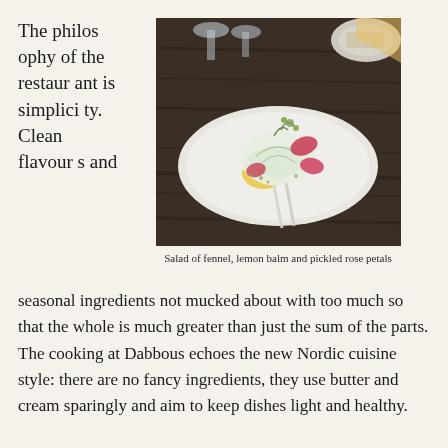The philosophy of the restaurant is simplicity. Clean flavours and
[Figure (photo): A white oval plate with a salad of fennel, lemon balm and pickled rose petals, set on a dark wooden table with glassware in the background.]
Salad of fennel, lemon balm and pickled rose petals
seasonal ingredients not mucked about with too much so that the whole is much greater than just the sum of the parts. The cooking at Dabbous echoes the new Nordic cuisine style: there are no fancy ingredients, they use butter and cream sparingly and aim to keep dishes light and healthy.